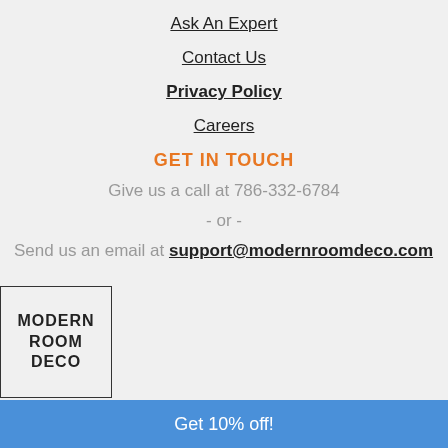Ask An Expert
Contact Us
Privacy Policy
Careers
GET IN TOUCH
Give us a call at 786-332-6784
- or -
Send us an email at support@modernroomdeco.com
[Figure (logo): Modern Room Deco logo with text in a bordered box]
Get 10% off!